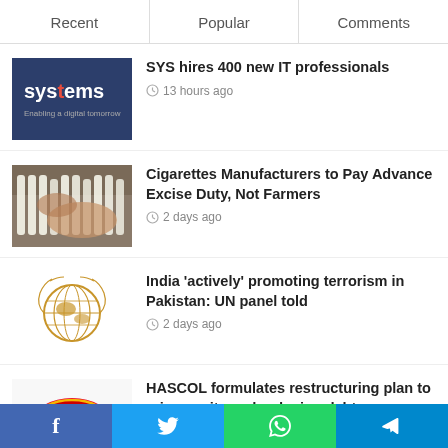Recent | Popular | Comments
SYS hires 400 new IT professionals
13 hours ago
[Figure (logo): Systems logo - dark blue background with 'systems' text and tagline 'Enabling a digital tomorrow']
Cigarettes Manufacturers to Pay Advance Excise Duty, Not Farmers
2 days ago
[Figure (photo): Hands handling cigarettes in a tray]
India 'actively' promoting terrorism in Pakistan: UN panel told
2 days ago
[Figure (logo): United Nations logo - gold globe with laurel wreath on white background]
HASCOL formulates restructuring plan to raise equity and reducing debt exposure
[Figure (logo): HASCOL logo - red oval with HASCOL text]